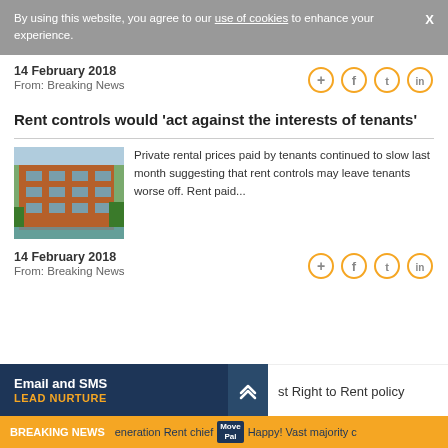By using this website, you agree to our use of cookies to enhance your experience.
14 February 2018
From: Breaking News
Rent controls would 'act against the interests of tenants'
[Figure (photo): Photograph of a modern brick apartment building with balconies next to water]
Private rental prices paid by tenants continued to slow last month suggesting that rent controls may leave tenants worse off. Rent paid...
14 February 2018
From: Breaking News
Email and SMS LEAD NURTURE
st Right to Rent policy
BREAKING NEWS  Generation Rent chief  Move Pal  Happy! Vast majority c